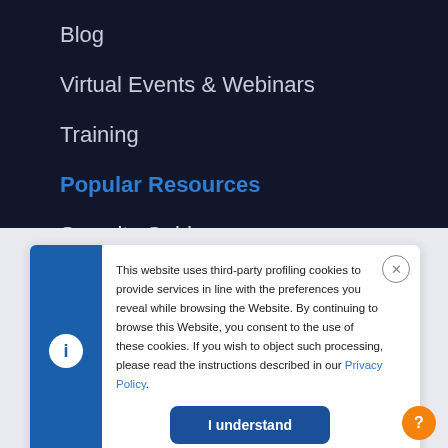Blog
Virtual Events & Webinars
Training
Popular Resources
Security Guidance
This website uses third-party profiling cookies to provide services in line with the preferences you reveal while browsing the Website. By continuing to browse this Website, you consent to the use of these cookies. If you wish to object such processing, please read the instructions described in our Privacy Policy.
I understand